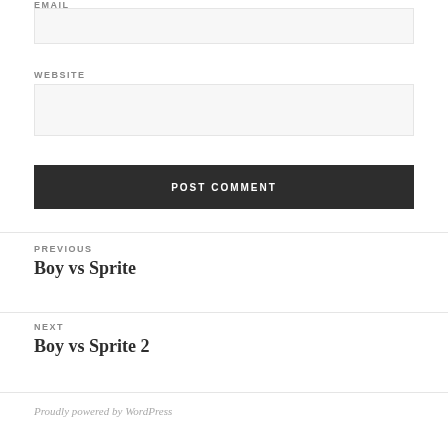EMAIL
WEBSITE
POST COMMENT
PREVIOUS
Boy vs Sprite
NEXT
Boy vs Sprite 2
Proudly powered by WordPress